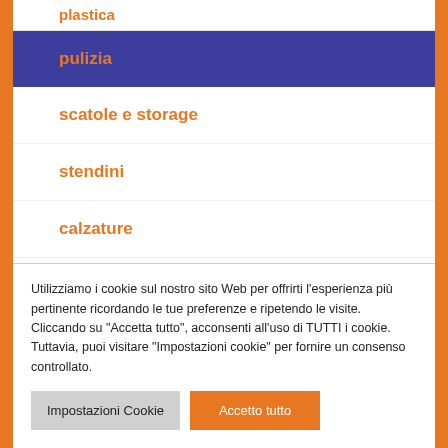plastica
pulizia
scatole e storage
stendini
calzature
elettrodomestici
Utilizziamo i cookie sul nostro sito Web per offrirti l'esperienza più pertinente ricordando le tue preferenze e ripetendo le visite. Cliccando su "Accetta tutto", acconsenti all'uso di TUTTI i cookie. Tuttavia, puoi visitare "Impostazioni cookie" per fornire un consenso controllato.
Impostazioni Cookie | Accetto tutto